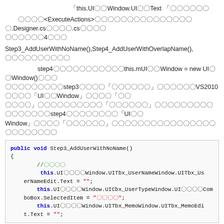「this.UI〇〇Window.UI〇〇Text 「〇〇〇〇〇〇
〇〇〇〇<ExecuteActions>〇〇〇〇〇〇〇〇〇〇〇〇〇〇〇〇.Designer.cs〇〇〇〇.cs〇〇〇〇〇〇〇〇〇4〇〇〇
Step3_AddUserWithNoName(),Step4_AddUserWithOverlapName(),〇〇〇〇〇〇〇〇〇〇
step4〇〇〇〇〇〇〇〇〇〇〇this.mUI〇〇Window = new UI〇〇Window()〇〇〇〇〇〇〇〇〇〇〇〇step3〇〇〇〇「〇〇〇〇〇〇」〇〇〇〇〇〇〇VS2010〇〇〇〇「UI〇〇Window」〇〇〇〇「〇〇〇〇〇」〇〇〇〇〇〇〇〇〇〇「〇〇〇〇〇〇」〇〇〇〇〇〇〇〇〇〇〇〇〇〇〇〇step4〇〇〇〇〇〇〇〇「UI〇〇Window」〇〇〇〇「〇〇〇〇〇〇」〇〇〇〇〇〇〇〇〇〇〇〇〇〇〇〇〇〇〇〇〇〇〇〇
[Figure (screenshot): Code block showing public void Step3_AddUserWithNoName() method with C# code including this.UI statements]